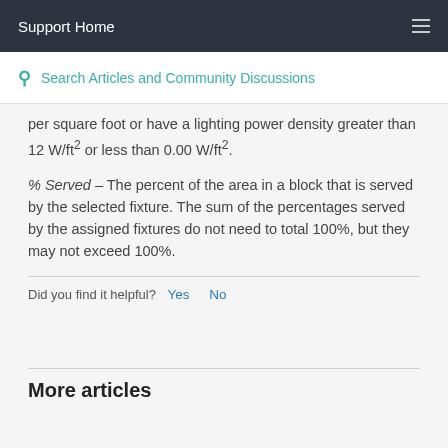Support Home
Search Articles and Community Discussions
per square foot or have a lighting power density greater than 12 W/ft² or less than 0.00 W/ft².
% Served – The percent of the area in a block that is served by the selected fixture. The sum of the percentages served by the assigned fixtures do not need to total 100%, but they may not exceed 100%.
Did you find it helpful? Yes No
More articles